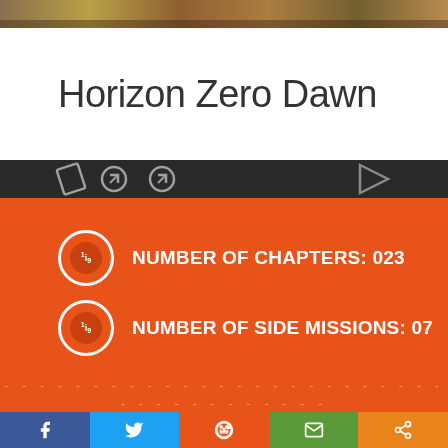[Figure (photo): Scenic game screenshot from Horizon Zero Dawn showing landscape]
Horizon Zero Dawn
[Figure (infographic): Orange info panel showing game statistics]
NUMBER OF CHAPTERS: 023
NUMBER OF SIDE MISSIONS: 07
[Figure (infographic): Social share buttons: Facebook, Twitter, Reddit, Email, Share]